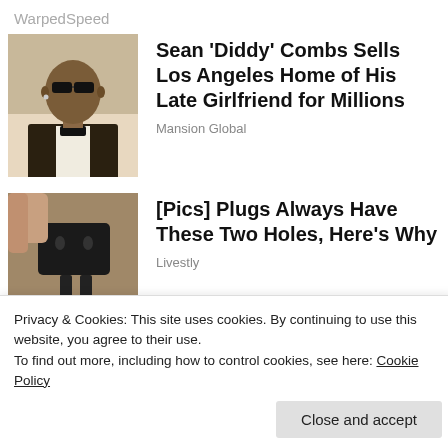WarpedSpeed
[Figure (photo): Portrait photo of Sean 'Diddy' Combs wearing sunglasses and a bow tie]
Sean ‘Diddy’ Combs Sells Los Angeles Home of His Late Girlfriend for Millions
Mansion Global
[Figure (photo): Close-up photo of a black electrical plug being held by a hand]
[Pics] Plugs Always Have These Two Holes, Here’s Why
Livestly
Privacy & Cookies: This site uses cookies. By continuing to use this website, you agree to their use.
To find out more, including how to control cookies, see here: Cookie Policy
Close and accept